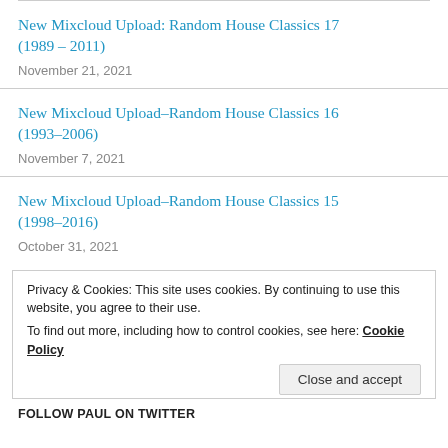New Mixcloud Upload: Random House Classics 17 (1989 – 2011)
November 21, 2021
New Mixcloud Upload–Random House Classics 16 (1993–2006)
November 7, 2021
New Mixcloud Upload–Random House Classics 15 (1998–2016)
October 31, 2021
Privacy & Cookies: This site uses cookies. By continuing to use this website, you agree to their use. To find out more, including how to control cookies, see here: Cookie Policy
Close and accept
FOLLOW PAUL ON TWITTER